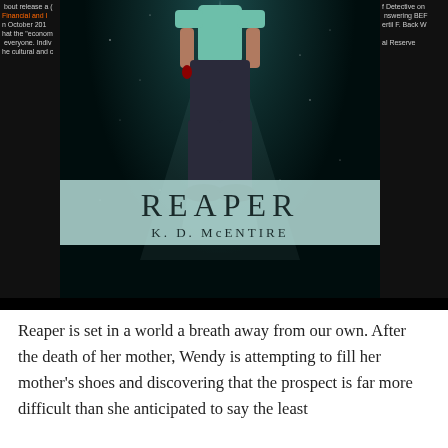[Figure (photo): Photograph of the book cover 'Reaper' by K.D. McEntire. The cover shows a figure in teal/dark clothes standing against a dark starry background with a teal/aqua color at the lower portion. The title 'REAPER' is displayed in large serif letters and 'K.D. McENTIRE' below it. Partial text from other pages/books visible on the left and right sides.]
Reaper is set in a world a breath away from our own. After the death of her mother, Wendy is attempting to fill her mother's shoes and discovering that the prospect is far more difficult than she anticipated to say the least